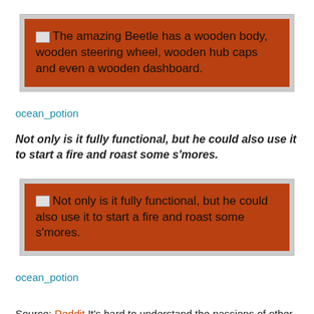[Figure (screenshot): Dark red/brown background box with broken image icon and text: 'The amazing Beetle has a wooden body, wooden steering wheel, wooden hub caps and even a wooden dashboard.']
ocean_potion
Not only is it fully functional, but he could also use it to start a fire and roast some s'mores.
[Figure (screenshot): Dark red/brown background box with broken image icon and text: 'Not only is it fully functional, but he could also use it to start a fire and roast some s'mores.']
ocean_potion
Source: Reddit It's hard to understand the passions of other people, but Momir knew what he wanted and went for it, no matter how long it took. Share the fruits of his